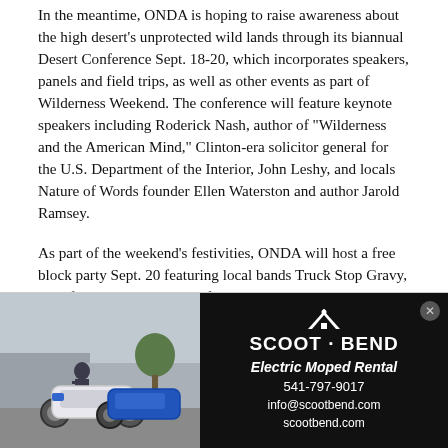In the meantime, ONDA is hoping to raise awareness about the high desert's unprotected wild lands through its biannual Desert Conference Sept. 18-20, which incorporates speakers, panels and field trips, as well as other events as part of Wilderness Weekend. The conference will feature keynote speakers including Roderick Nash, author of "Wilderness and the American Mind," Clinton-era solicitor general for the U.S. Department of the Interior, John Leshy, and locals Nature of Words founder Ellen Waterston and author Jarold Ramsey.
As part of the weekend's festivities, ONDA will host a free block party Sept. 20 featuring local bands Truck Stop Gravy, Pitchfolk Revolution and, of course, Wilderness, as well as food, drinks and activities, all in the lot adjacent to Strictly Organic in the Upper Old Mill District.
[Figure (photo): Advertisement for Scoot Bend Electric Moped Rental. Left side shows a photo of a person standing next to two mopeds (one white, one blue) in a parking lot. Right side has a black background with the Scoot Bend logo (tent/mountain icon), text 'Electric Moped Rental', phone number 541-797-9017, and website info@scootbend.com and scootbend.com.]